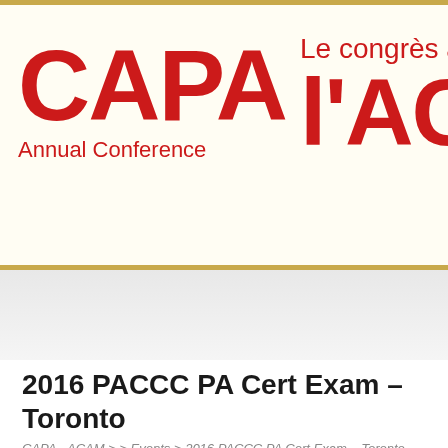[Figure (logo): CAPA Annual Conference / Le congrès annuel de l'ACA bilingual header banner with red text on cream background, gold border lines]
2016 PACCC PA Cert Exam – Toronto
CAPA - ACAM > > Events > 2016 PACCC PA Cert Exam – Toronto